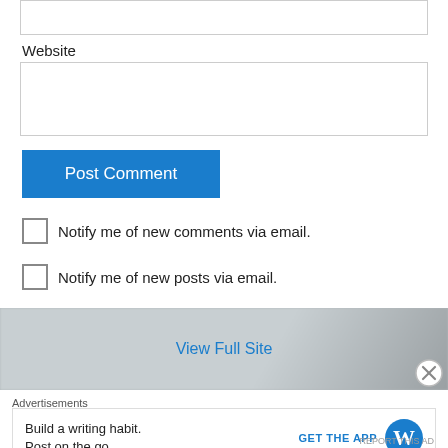Website
[Figure (screenshot): Empty text input field for Website]
Post Comment
Notify me of new comments via email.
Notify me of new posts via email.
[Figure (screenshot): Banner with blurred city/building background and 'View Full Site' link, with close (X) button]
Advertisements
Build a writing habit. Post on the go.
GET THE APP
REPORT THIS AD